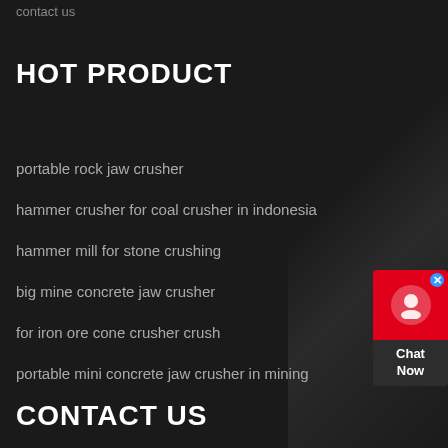contact us
HOT PRODUCT
portable rock jaw crusher
hammer crusher for coal crusher in indonesia
hammer mill for stone crushing
big mine concrete jaw crusher
for iron ore cone crusher crush
portable mini concrete jaw crusher in mining
CONTACT US